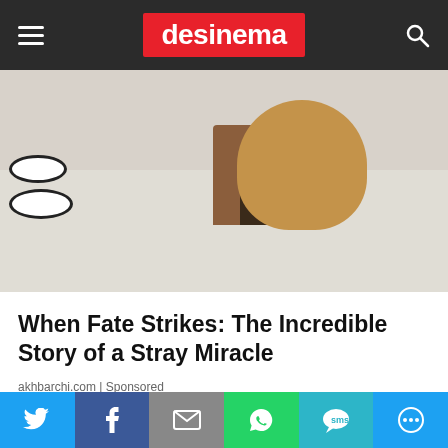desinema
[Figure (photo): A large dog lying on a tiled floor next to a wooden dog kennel, with dog bowls visible on the left. The dog is wearing a collar with a chain.]
When Fate Strikes: The Incredible Story of a Stray Miracle
akhbarchi.com | Sponsored
[Figure (photo): Partial view of a second article image showing blue curtain or fabric texture.]
[Figure (infographic): Social share bar with Twitter, Facebook, Email, WhatsApp, SMS, and More buttons.]